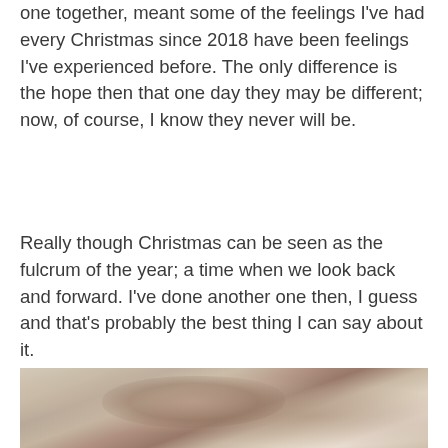one together, meant some of the feelings I've had every Christmas since 2018 have been feelings I've experienced before. The only difference is the hope then that one day they may be different; now, of course, I know they never will be.
Really though Christmas can be seen as the fulcrum of the year; a time when we look back and forward. I've done another one then, I guess and that's probably the best thing I can say about it.
[Figure (photo): A blurry selfie-style photo showing a person's head and upper body, taken indoors. The image is out of focus.]